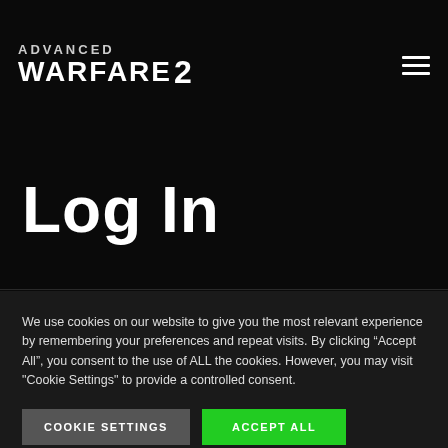ADVANCED WARFARE 2
Log In
We use cookies on our website to give you the most relevant experience by remembering your preferences and repeat visits. By clicking “Accept All”, you consent to the use of ALL the cookies. However, you may visit "Cookie Settings" to provide a controlled consent.